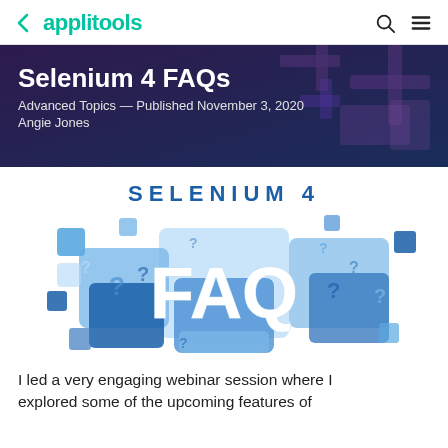applitools
Selenium 4 FAQs
Advanced Topics — Published November 3, 2020
Angie Jones
[Figure (illustration): Selenium 4 FAQ graphic with blue question mark tiles and large FAQ text in white]
I led a very engaging webinar session where I explored some of the upcoming features of